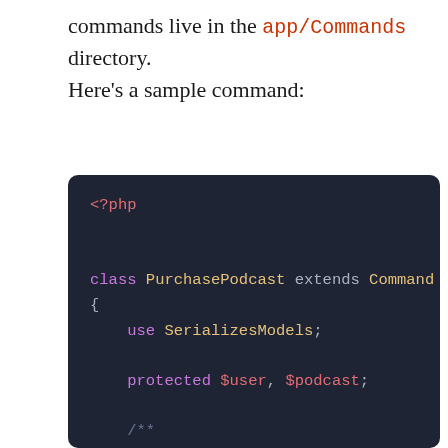commands live in the app/Commands directory. Here's a sample command:
[Figure (screenshot): Dark-themed PHP code block showing a class PurchasePodcast extends Command implementing an interface, with use SerializesModels; protected $user, $podcast; a PHPDoc comment block, and public function __construct(User $user, Po...]